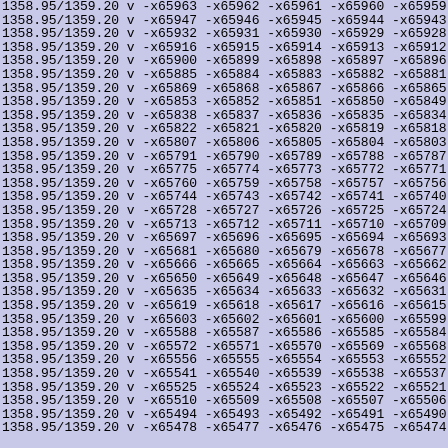1358.95/1359.20 v -x65963 -x65962 -x65961 -x65960 -x65959 -x6
1358.95/1359.20 v -x65947 -x65946 -x65945 -x65944 -x65943 -x6
1358.95/1359.20 v -x65932 -x65931 -x65930 -x65929 -x65928 -x6
1358.95/1359.20 v -x65916 -x65915 -x65914 -x65913 -x65912 -x6
1358.95/1359.20 v -x65900 -x65899 -x65898 -x65897 -x65896 -x6
1358.95/1359.20 v -x65885 -x65884 -x65883 -x65882 -x65881 -x6
1358.95/1359.20 v -x65869 -x65868 -x65867 -x65866 -x65865 -x6
1358.95/1359.20 v -x65853 -x65852 -x65851 -x65850 -x65849 -x6
1358.95/1359.20 v -x65838 -x65837 -x65836 -x65835 -x65834 -x6
1358.95/1359.20 v -x65822 -x65821 -x65820 -x65819 -x65818 -x6
1358.95/1359.20 v -x65807 -x65806 -x65805 -x65804 -x65803 -x6
1358.95/1359.20 v -x65791 -x65790 -x65789 -x65788 -x65787 -x6
1358.95/1359.20 v -x65775 -x65774 -x65773 -x65772 -x65771 -x6
1358.95/1359.20 v -x65760 -x65759 -x65758 -x65757 -x65756 -x6
1358.95/1359.20 v -x65744 -x65743 -x65742 -x65741 -x65740 -x6
1358.95/1359.20 v -x65728 -x65727 -x65726 -x65725 -x65724 -x6
1358.95/1359.20 v -x65713 -x65712 -x65711 -x65710 -x65709 -x6
1358.95/1359.20 v -x65697 -x65696 -x65695 -x65694 -x65693 -x6
1358.95/1359.20 v -x65681 -x65680 -x65679 -x65678 -x65677 -x6
1358.95/1359.20 v -x65666 -x65665 -x65664 -x65663 -x65662 -x6
1358.95/1359.20 v -x65650 -x65649 -x65648 -x65647 -x65646 -x6
1358.95/1359.20 v -x65635 -x65634 -x65633 -x65632 -x65631 -x6
1358.95/1359.20 v -x65619 -x65618 -x65617 -x65616 -x65615 -x6
1358.95/1359.20 v -x65603 -x65602 -x65601 -x65600 -x65599 -x6
1358.95/1359.20 v -x65588 -x65587 -x65586 -x65585 -x65584 -x6
1358.95/1359.20 v -x65572 -x65571 -x65570 -x65569 -x65568 -x6
1358.95/1359.20 v -x65556 -x65555 -x65554 -x65553 -x65552 -x6
1358.95/1359.20 v -x65541 -x65540 -x65539 -x65538 -x65537 -x6
1358.95/1359.20 v -x65525 -x65524 -x65523 -x65522 -x65521 -x6
1358.95/1359.20 v -x65510 -x65509 -x65508 -x65507 -x65506 -x6
1358.95/1359.20 v -x65494 -x65493 -x65492 -x65491 -x65490 -x6
1358.95/1359.20 v -x65478 -x65477 -x65476 -x65475 -x65474 -x6